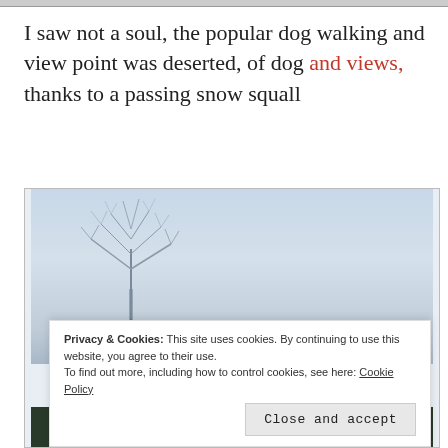I saw not a soul, the popular dog walking and view point was deserted, of dog and views, thanks to a passing snow squall
[Figure (photo): Winter scene showing a bare leafless tree against a pale grey sky, with snowy/dark landscape at the bottom edge]
Privacy & Cookies: This site uses cookies. By continuing to use this website, you agree to their use. To find out more, including how to control cookies, see here: Cookie Policy